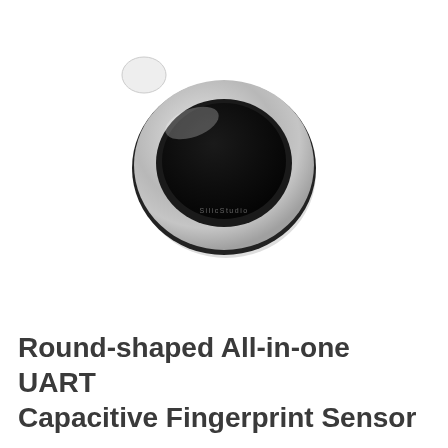[Figure (photo): A round-shaped fingerprint sensor module. It has a circular silver/metallic outer ring with a brushed finish, a black rubber or plastic base ring, and a dark black capacitive sensing area in the center. The sensor appears to have slight text or branding etched into the silver ring. The background is white.]
Round-shaped All-in-one UART Capacitive Fingerprint Sensor